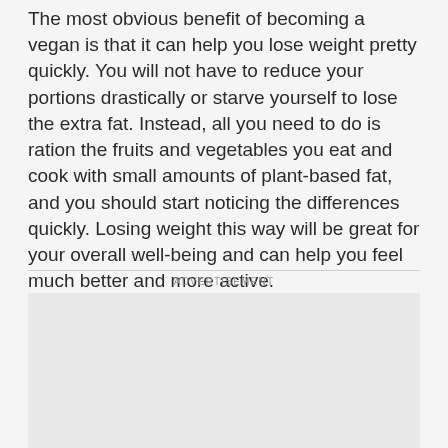The most obvious benefit of becoming a vegan is that it can help you lose weight pretty quickly. You will not have to reduce your portions drastically or starve yourself to lose the extra fat. Instead, all you need to do is ration the fruits and vegetables you eat and cook with small amounts of plant-based fat, and you should start noticing the differences quickly. Losing weight this way will be great for your overall well-being and can help you feel much better and more active.
ADVERTISEMENT
[Figure (other): Advertisement placeholder box with light grey background]